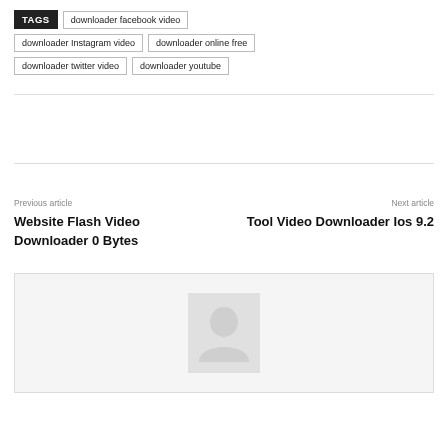TAGS  downloader facebook video  downloader Instagram video  downloader online free  downloader twitter video  downloader youtube
Previous article
Website Flash Video Downloader 0 Bytes
Next article
Tool Video Downloader Ios 9.2
[Figure (illustration): Avatar/person placeholder image in a light gray box with border]